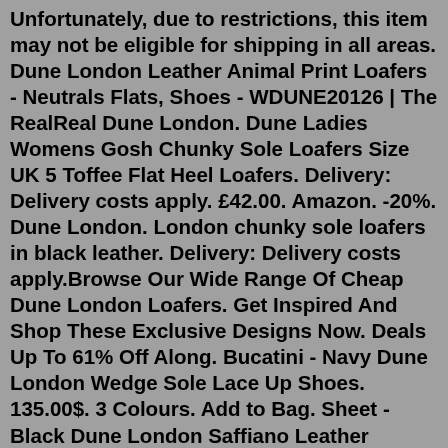Unfortunately, due to restrictions, this item may not be eligible for shipping in all areas. Dune London Leather Animal Print Loafers - Neutrals Flats, Shoes - WDUNE20126 | The RealReal Dune London. Dune Ladies Womens Gosh Chunky Sole Loafers Size UK 5 Toffee Flat Heel Loafers. Delivery: Delivery costs apply. £42.00. Amazon. -20%. Dune London. London chunky sole loafers in black leather. Delivery: Delivery costs apply.Browse Our Wide Range Of Cheap Dune London Loafers. Get Inspired And Shop These Exclusive Designs Now. Deals Up To 61% Off Along. Bucatini - Navy Dune London Wedge Sole Lace Up Shoes. 135.00$. 3 Colours. Add to Bag. Sheet - Black Dune London Saffiano Leather Oxford Shoes. 175.00$. 2 Colours. Add to Bag. Balad - Blue Dune London Punch Hole Casual Shoes.Fall in love with loafers all over again thanks to the latest styles and updates. The preppy favourite is updated this season with backless, heeled and platform loafers. Tassel detailing keeps with tradition, while animal prints and patent effects add modern touches. Check out on